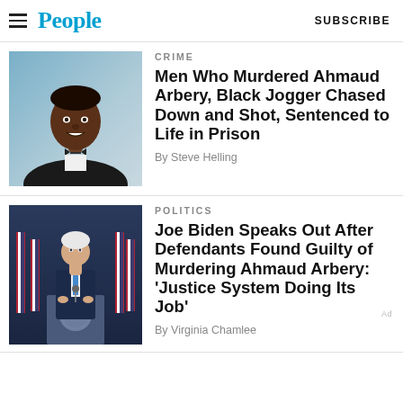People | SUBSCRIBE
[Figure (photo): Portrait photo of Ahmaud Arbery in formal attire with bow tie, blue background]
CRIME
Men Who Murdered Ahmaud Arbery, Black Jogger Chased Down and Shot, Sentenced to Life in Prison
By Steve Helling
[Figure (photo): Joe Biden speaking at podium with American flags and presidential seals in background]
POLITICS
Joe Biden Speaks Out After Defendants Found Guilty of Murdering Ahmaud Arbery: 'Justice System Doing Its Job'
By Virginia Chamlee